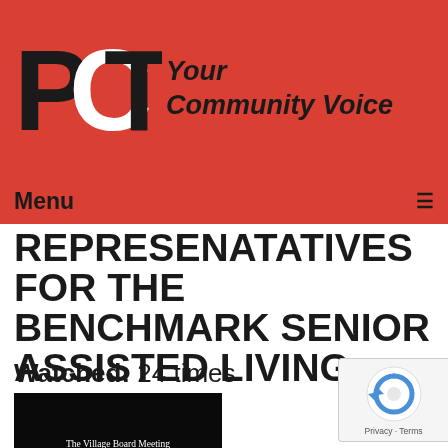[Figure (logo): PCTV logo with text 'Your Community Voice' on red background]
Menu ≡
REPRESENATATIVES FOR THE BENCHMARK SENIOR ASSISTED LIVING
Watched: 24 times
[Figure (screenshot): Thumbnail image showing The Village Board Meeting of August 22, 2013 on black background]